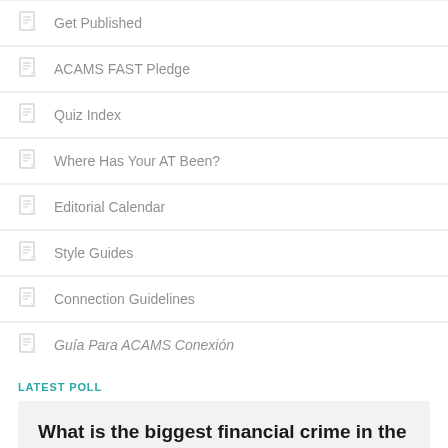Get Published
ACAMS FAST Pledge
Quiz Index
Where Has Your AT Been?
Editorial Calendar
Style Guides
Connection Guidelines
Guía Para ACAMS Conexión
LATEST POLL
What is the biggest financial crime in the metaverse?
Transit for...